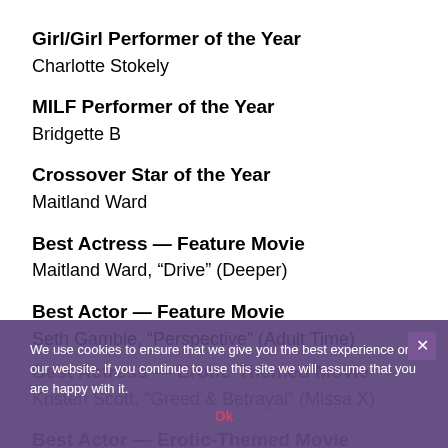Girl/Girl Performer of the Year
Charlotte Stokely
MILF Performer of the Year
Bridgette B
Crossover Star of the Year
Maitland Ward
Best Actress — Feature Movie
Maitland Ward, “Drive” (Deeper)
Best Actor — Feature Movie
Seth Gamble, “Perspective” (Adult Time)
Best Actress — Erotic-Themed Movie
Kristen Scott, “Greed & Betrayal” (Missa X)
Best Actor — Erotic-Themed Movie
We use cookies to ensure that we give you the best experience on our website. If you continue to use this site we will assume that you are happy with it.